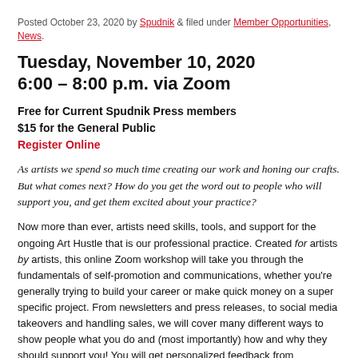Posted October 23, 2020 by Spudnik & filed under Member Opportunities, News.
Tuesday, November 10, 2020
6:00 – 8:00 p.m. via Zoom
Free for Current Spudnik Press members
$15 for the General Public
Register Online
As artists we spend so much time creating our work and honing our crafts. But what comes next? How do you get the word out to people who will support you, and get them excited about your practice?
Now more than ever, artists need skills, tools, and support for the ongoing Art Hustle that is our professional practice. Created for artists by artists, this online Zoom workshop will take you through the fundamentals of self-promotion and communications, whether you're generally trying to build your career or make quick money on a super specific project. From newsletters and press releases, to social media takeovers and handling sales, we will cover many different ways to show people what you do and (most importantly) how and why they should support you! You will get personalized feedback from